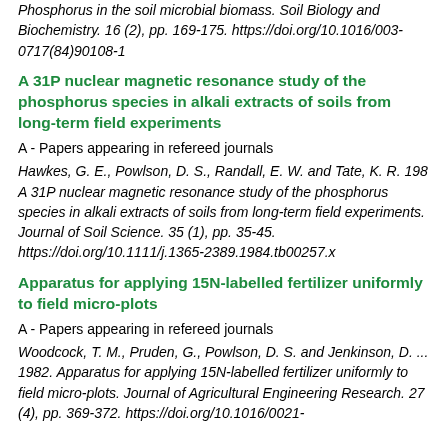Phosphorus in the soil microbial biomass. Soil Biology and Biochemistry. 16 (2), pp. 169-175. https://doi.org/10.1016/0038-0717(84)90108-1
A 31P nuclear magnetic resonance study of the phosphorus species in alkali extracts of soils from long-term field experiments
A - Papers appearing in refereed journals
Hawkes, G. E., Powlson, D. S., Randall, E. W. and Tate, K. R. 198... A 31P nuclear magnetic resonance study of the phosphorus species in alkali extracts of soils from long-term field experiments. Journal of Soil Science. 35 (1), pp. 35-45. https://doi.org/10.1111/j.1365-2389.1984.tb00257.x
Apparatus for applying 15N-labelled fertilizer uniformly to field micro-plots
A - Papers appearing in refereed journals
Woodcock, T. M., Pruden, G., Powlson, D. S. and Jenkinson, D. ... 1982. Apparatus for applying 15N-labelled fertilizer uniformly to field micro-plots. Journal of Agricultural Engineering Research. 27 (4), pp. 369-372. https://doi.org/10.1016/0021-